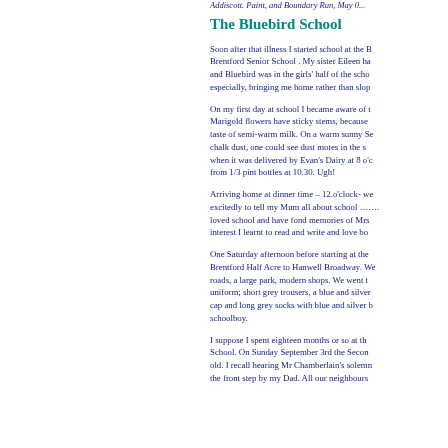Addiscott. Paint, and Boundary Run, May 0...
The Bluebird School
Soon after that illness I started school at the Bluebird School. My sister Eileen ha... Brentford Senior School . My sister Eileen ha... and Bluebird was in the girls' half of the scho... especially, bringing me home rather than slop...
On my first day at school I became aware of t... Marigold flowers have sticky stems, because ... taste of semi-warm milk. On a warm sunny Se... chalk dust, one could see dust motes in the s... when it was delivered by Evan's Dairy at 8 o'c... from 1/3 pint bottles at 10.30. Ugh!
Arriving home at dinner time – 12.o'clock- we... excitedly to tell my Mum all about school ……. loved school and have fond memories of Mrs ... interest I learnt to read and write and love bo...
One Saturday afternoon before starting at the... Brentford Half Acre to Hanwell Broadway. We... roads, a large park, modern shops. We went t... uniform; short grey trousers, a blue and silver... cap and long grey socks with blue and silver b... schoolboy.
I suppose I spent eighteen months or so at th... School. On Sunday September 3rd the Secon... old. I recall hearing Mr Chamberlain's solemn... the front step by my Dad. All our neighbours...